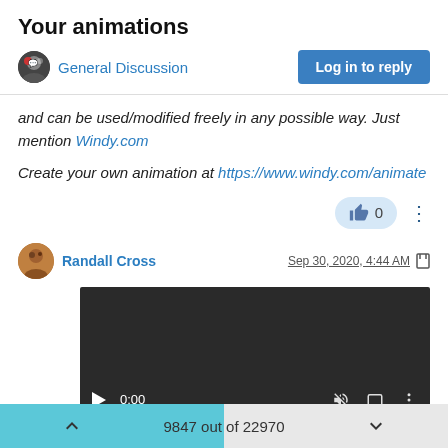Your animations
General Discussion
Log in to reply
and can be used/modified freely in any possible way. Just mention Windy.com
Create your own animation at https://www.windy.com/animate
👍 0
Randall Cross  Sep 30, 2020, 4:44 AM
[Figure (screenshot): Embedded video player showing 0:00 timecode with playback controls on dark background]
9847 out of 22970